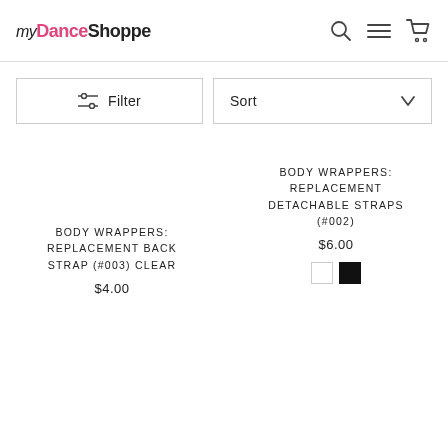myDanceShoppe
Filter
Sort
BODY WRAPPERS: REPLACEMENT BACK STRAP (#003) CLEAR
$4.00
BODY WRAPPERS: REPLACEMENT DETACHABLE STRAPS (#002)
$6.00